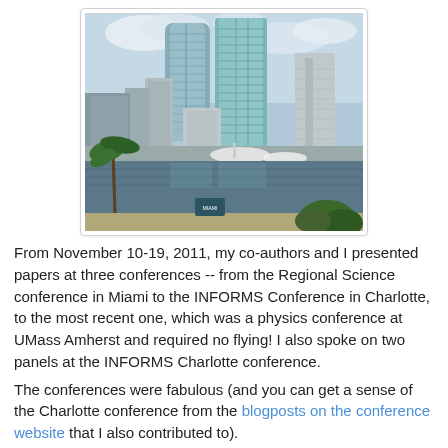[Figure (photo): Cityscape photo showing modern glass skyscrapers along a waterfront in Miami, with boats visible on the water and palm trees in the foreground.]
From November 10-19, 2011, my co-authors and I presented papers at three conferences -- from the Regional Science conference in Miami to the INFORMS Conference in Charlotte, to the most recent one, which was a physics conference at UMass Amherst and required no flying! I also spoke on two panels at the INFORMS Charlotte conference.
The conferences were fabulous (and you can get a sense of the Charlotte conference from the blogposts on the conference website that I also contributed to).